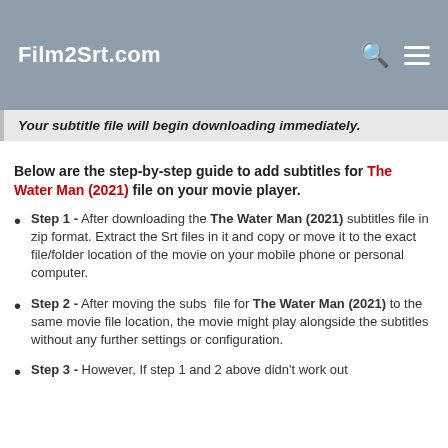Film2Srt.com
Your subtitle file will begin downloading immediately.
Below are the step-by-step guide to add subtitles for The Water Man (2021) file on your movie player.
Step 1 - After downloading the The Water Man (2021) subtitles file in zip format. Extract the Srt files in it and copy or move it to the exact file/folder location of the movie on your mobile phone or personal computer.
Step 2 - After moving the subs file for The Water Man (2021) to the same movie file location, the movie might play alongside the subtitles without any further settings or configuration.
Step 3 - However, If step 1 and 2 above didn't work out